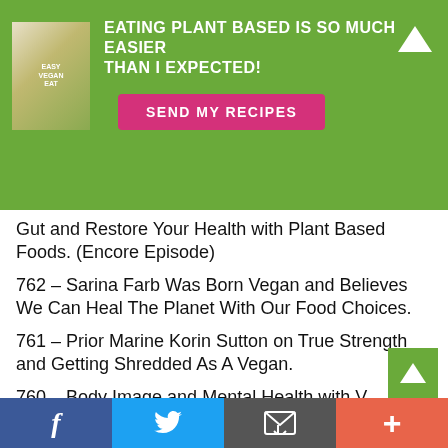[Figure (infographic): Green banner with vegan cookbook image, headline 'EATING PLANT BASED IS SO MUCH EASIER THAN I EXPECTED!', a pink 'SEND MY RECIPES' button, and a white upward arrow icon.]
Gut and Restore Your Health with Plant Based Foods. (Encore Episode)
762 – Sarina Farb Was Born Vegan and Believes We Can Heal The Planet With Our Food Choices.
761 – Prior Marine Korin Sutton on True Strength and Getting Shredded As A Vegan.
760 – Body Image and Mental Health with Vegan Figure Competitor Dani Taylor.
[Figure (infographic): Footer social sharing bar with Facebook, Twitter, email, and plus icons in blue, sky blue, grey, and orange-red respectively.]